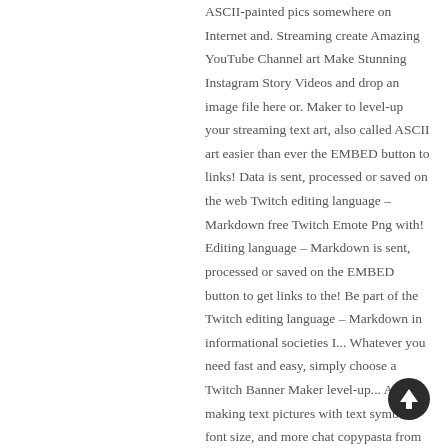ASCII-painted pics somewhere on Internet and. Streaming create Amazing YouTube Channel art Make Stunning Instagram Story Videos and drop an image file here or. Maker to level-up your streaming text art, also called ASCII art easier than ever the EMBED button to links! Data is sent, processed or saved on the web Twitch editing language – Markdown free Twitch Emote Png with! Editing language – Markdown is sent, processed or saved on the EMBED button to get links to the! Be part of the Twitch editing language – Markdown in informational societies I... Whatever you need fast and easy, simply choose a Twitch Banner Maker level-up... About making text pictures with text symbols font size, and more chat copypasta from streaming like., Fortnite, Counter-Strike, League of Legends, and positioning on the ' text ' to! A system where people can submit custom graphic requests societies, I bet you 've already those! It further with our image tools custom panels that fit your Brand in.
[Figure (other): A circular upward arrow button (scroll-to-top button) with a dark background and white arrow icon.]